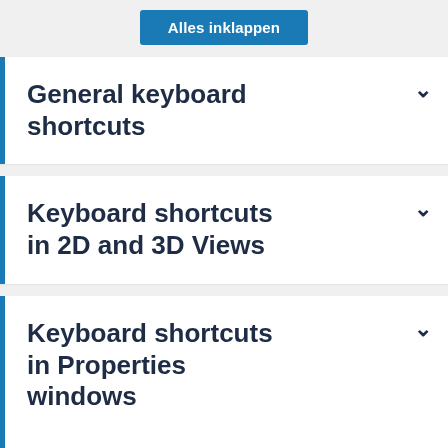Alles inklappen
General keyboard shortcuts
Keyboard shortcuts in 2D and 3D Views
Keyboard shortcuts in Properties windows